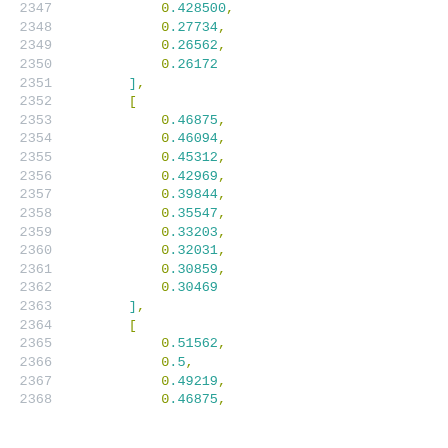2347    0.428500,
2348    0.27734,
2349    0.26562,
2350    0.26172
2351    ],
2352    [
2353    0.46875,
2354    0.46094,
2355    0.45312,
2356    0.42969,
2357    0.39844,
2358    0.35547,
2359    0.33203,
2360    0.32031,
2361    0.30859,
2362    0.30469
2363    ],
2364    [
2365    0.51562,
2366    0.5,
2367    0.49219,
2368    0.46875,